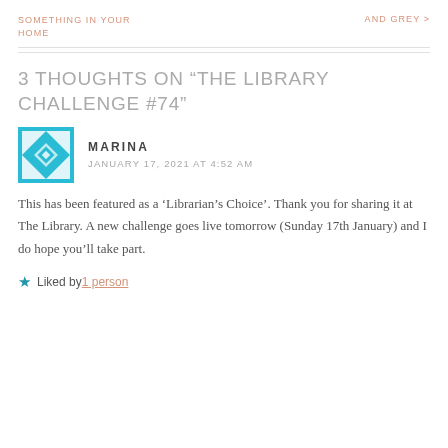SOMETHING IN YOUR HOME
AND GREY >
3 THOUGHTS ON “THE LIBRARY CHALLENGE #74”
[Figure (illustration): Cyan and white geometric quilt-style avatar icon for user Marina]
MARINA
JANUARY 17, 2021 AT 4:52 AM
This has been featured as a ‘Librarian’s Choice’. Thank you for sharing it at The Library. A new challenge goes live tomorrow (Sunday 17th January) and I do hope you’ll take part.
★ Liked by 1 person